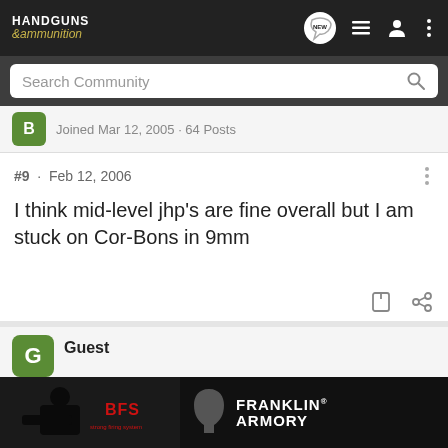HANDGUNS &ammunition
Search Community
Joined Mar 12, 2005 · 64 Posts
#9 · Feb 12, 2006
I think mid-level jhp's are fine overall but I am stuck on Cor-Bons in 9mm
Guest
[Figure (photo): Franklin Armory advertisement banner with shooter image and logo]